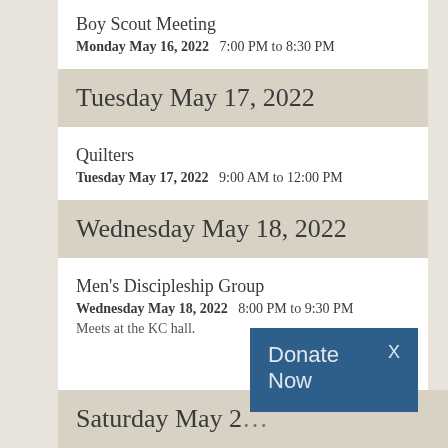Boy Scout Meeting
Monday May 16, 2022  7:00 PM to 8:30 PM
Tuesday May 17, 2022
Quilters
Tuesday May 17, 2022  9:00 AM to 12:00 PM
Wednesday May 18, 2022
Men's Discipleship Group
Wednesday May 18, 2022  8:00 PM to 9:30 PM
Meets at the KC hall.
Saturday May 2…